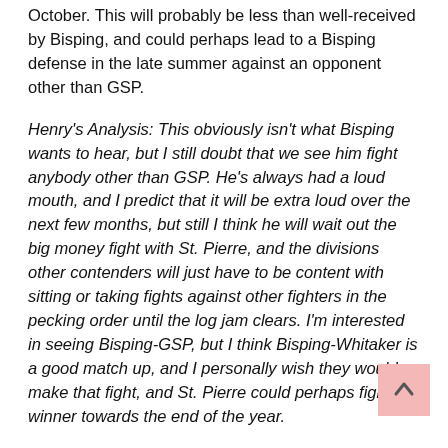October. This will probably be less than well-received by Bisping, and could perhaps lead to a Bisping defense in the late summer against an opponent other than GSP.
Henry's Analysis: This obviously isn't what Bisping wants to hear, but I still doubt that we see him fight anybody other than GSP. He's always had a loud mouth, and I predict that it will be extra loud over the next few months, but still I think he will wait out the big money fight with St. Pierre, and the divisions other contenders will just have to be content with sitting or taking fights against other fighters in the pecking order until the log jam clears. I'm interested in seeing Bisping-GSP, but I think Bisping-Whitaker is a good match up, and I personally wish they would make that fight, and St. Pierre could perhaps fight the winner towards the end of the year.
Al Iaquinta requests release from UFC
Even on the calmest of days, somewhere Al Iaquinta is raging. Following a meltdown on Twitter where he called out everybody under the sun, "cut" Sage Northcutt, and made fun